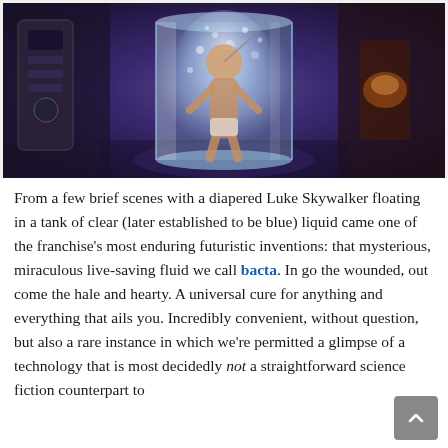[Figure (photo): A person in a diaper submerged in a clear cylindrical tank of liquid (bacta tank scene from Star Wars), with sci-fi equipment visible in a darkened room around the tank.]
From a few brief scenes with a diapered Luke Skywalker floating in a tank of clear (later established to be blue) liquid came one of the franchise's most enduring futuristic inventions: that mysterious, miraculous live-saving fluid we call bacta. In go the wounded, out come the hale and hearty. A universal cure for anything and everything that ails you. Incredibly convenient, without question, but also a rare instance in which we're permitted a glimpse of a technology that is most decidedly not a straightforward science fiction counterpart to